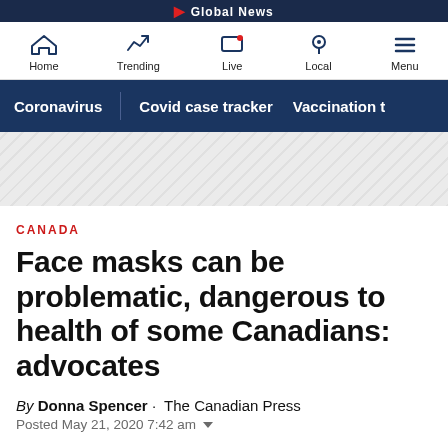Global News
[Figure (screenshot): Navigation bar with icons: Home, Trending, Live, Local, Menu]
[Figure (screenshot): Category navigation bar with links: Coronavirus | Covid case tracker | Vaccination t...]
[Figure (other): Diagonal hatched advertisement/banner area placeholder]
CANADA
Face masks can be problematic, dangerous to health of some Canadians: advocates
By Donna Spencer · The Canadian Press
Posted May 21, 2020 7:42 am